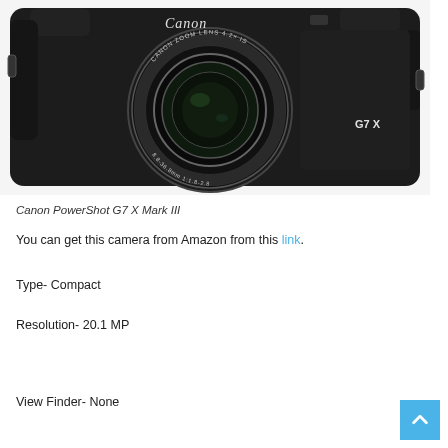[Figure (photo): Canon PowerShot G7 X Mark III compact camera, black body, with Canon Zoom Lens 4.2x IS 8.8-36.8mm 1:1.8-2.8 lens, G7X label visible on front]
Canon PowerShot G7 X Mark III
You can get this camera from Amazon from this link.
Type- Compact
Resolution- 20.1 MP
View Finder- None